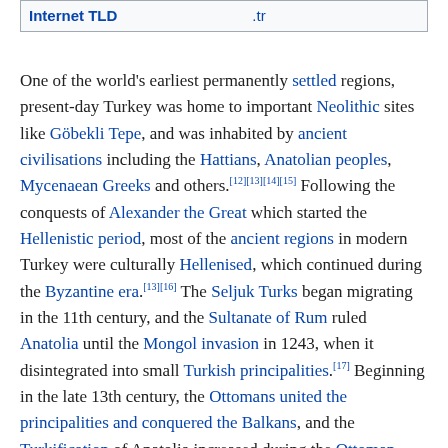| Internet TLD | .tr |
| --- | --- |
One of the world's earliest permanently settled regions, present-day Turkey was home to important Neolithic sites like Göbekli Tepe, and was inhabited by ancient civilisations including the Hattians, Anatolian peoples, Mycenaean Greeks and others.[12][13][14][15] Following the conquests of Alexander the Great which started the Hellenistic period, most of the ancient regions in modern Turkey were culturally Hellenised, which continued during the Byzantine era.[13][16] The Seljuk Turks began migrating in the 11th century, and the Sultanate of Rum ruled Anatolia until the Mongol invasion in 1243, when it disintegrated into small Turkish principalities.[17] Beginning in the late 13th century, the Ottomans united the principalities and conquered the Balkans, and the Turkification of Anatolia increased during the Ottoman